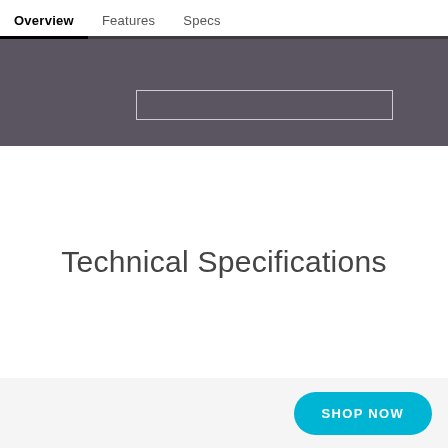Overview   Features   Specs
[Figure (screenshot): Dark gray banner with a white rectangle outline]
Technical Specifications
SHOP NOW